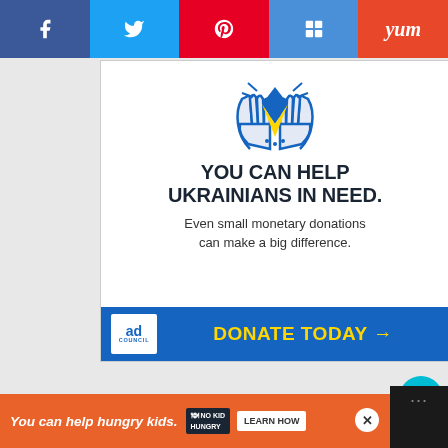Social share bar: Facebook, Twitter, Pinterest, Flipboard, Yummly
[Figure (infographic): Ad Council Ukraine donation advertisement. Shows hands cradling a blue and yellow heart with decorative elements. Text: YOU CAN HELP UKRAINIANS IN NEED. Even small monetary donations can make a big difference. DONATE TODAY arrow. Ad Council logo.]
64
[Figure (infographic): Bottom banner ad: You can help hungry kids. No Kid Hungry logo. LEARN HOW button. Close X button.]